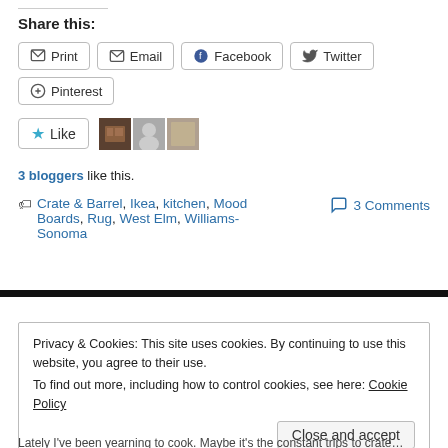Share this:
Print  Email  Facebook  Twitter  Pinterest
[Figure (other): Like button with star icon, followed by three blogger avatar thumbnails]
3 bloggers like this.
Crate & Barrel, Ikea, kitchen, Mood Boards, Rug, West Elm, Williams-Sonoma
3 Comments
Privacy & Cookies: This site uses cookies. By continuing to use this website, you agree to their use. To find out more, including how to control cookies, see here: Cookie Policy
Close and accept